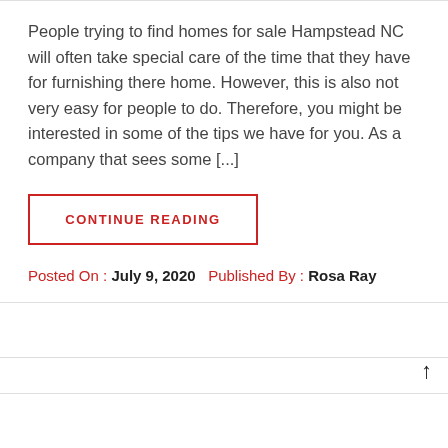People trying to find homes for sale Hampstead NC will often take special care of the time that they have for furnishing there home. However, this is also not very easy for people to do. Therefore, you might be interested in some of the tips we have for you. As a company that sees some [...]
CONTINUE READING
Posted On : July 9, 2020   Published By : Rosa Ray
[Figure (photo): Partial photo of a group of people visible at the bottom of the page]